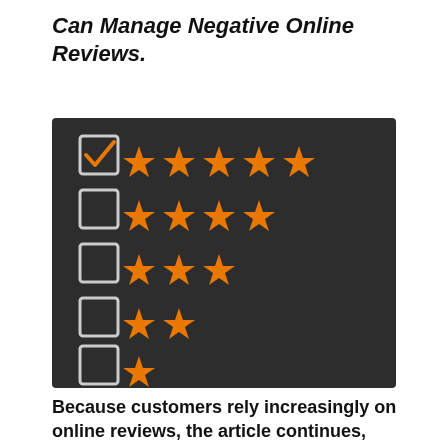Can Manage Negative Online Reviews.
[Figure (illustration): Dark chalkboard background showing a rating system with 5 checkboxes on the left. The top checkbox is checked with a white checkmark. To the right of each checkbox are decreasing numbers of orange stars: 5 stars (row 1), 4 stars (row 2), 3 stars (row 3), 2 stars (row 4), 1 star (row 5).]
Because customers rely increasingly on online reviews, the article continues, reviews are the most effective reputation-building tools